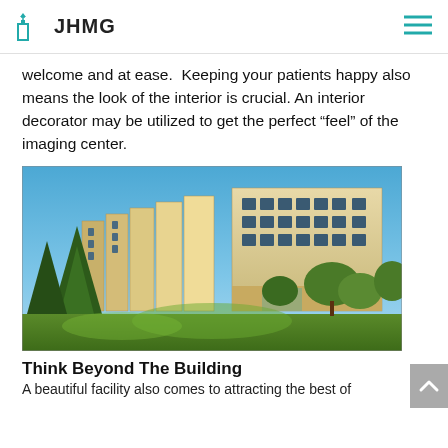JHMG
welcome and at ease.  Keeping your patients happy also means the look of the interior is crucial. An interior decorator may be utilized to get the perfect “feel” of the imaging center.
[Figure (photo): Exterior photo of a multi-story hospital/medical building with beige panels, surrounded by pine trees and deciduous trees under a clear blue sky.]
Think Beyond The Building
A beautiful facility also comes to attracting the best of